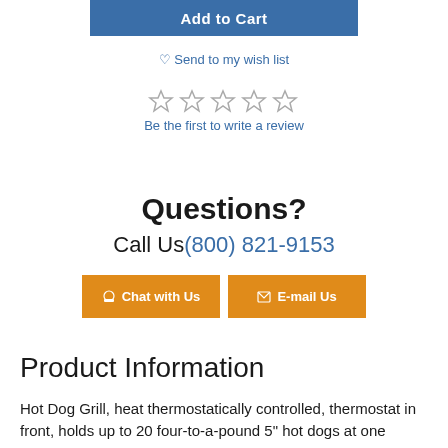[Figure (screenshot): Add to Cart button (blue)]
♡ Send to my wish list
[Figure (other): Five empty star rating icons]
Be the first to write a review
Questions?
Call Us(800) 821-9153
[Figure (other): Two orange buttons: Chat with Us and E-mail Us]
Product Information
Hot Dog Grill, heat thermostatically controlled, thermostat in front, holds up to 20 four-to-a-pound 5" hot dogs at one